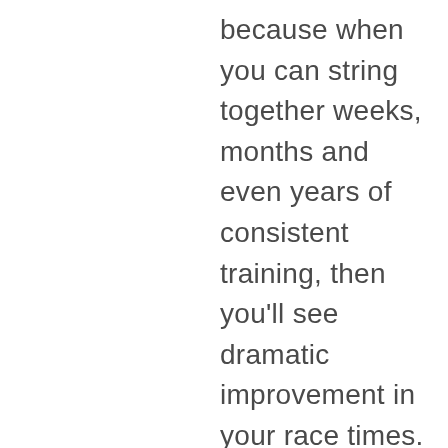because when you can string together weeks, months and even years of consistent training, then you'll see dramatic improvement in your race times. Long-term success (in other words, improvement) in distance running is all about consistency.